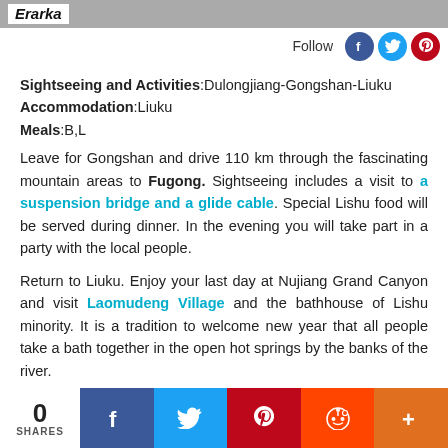Erarka
Follow
Sightseeing and Activities:Dulongjiang-Gongshan-Liuku
Accommodation:Liuku
Meals:B,L
Leave for Gongshan and drive 110 km through the fascinating mountain areas to Fugong. Sightseeing includes a visit to a suspension bridge and a glide cable. Special Lishu food will be served during dinner. In the evening you will take part in a party with the local people.
Return to Liuku. Enjoy your last day at Nujiang Grand Canyon and visit Laomudeng Village and the bathhouse of Lishu minority. It is a tradition to welcome new year that all people take a bath together in the open hot springs by the banks of the river.
0 SHARES